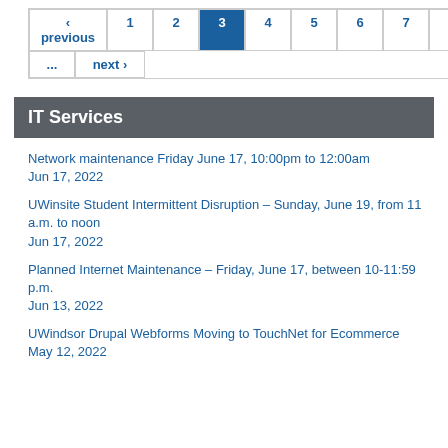‹ previous  1  2  3  4  5  6  7  8  9  ...  next ›
IT Services
Network maintenance Friday June 17, 10:00pm to 12:00am
Jun 17, 2022
UWinsite Student Intermittent Disruption – Sunday, June 19, from 11 a.m. to noon
Jun 17, 2022
Planned Internet Maintenance – Friday, June 17, between 10-11:59 p.m.
Jun 13, 2022
UWindsor Drupal Webforms Moving to TouchNet for Ecommerce
May 12, 2022